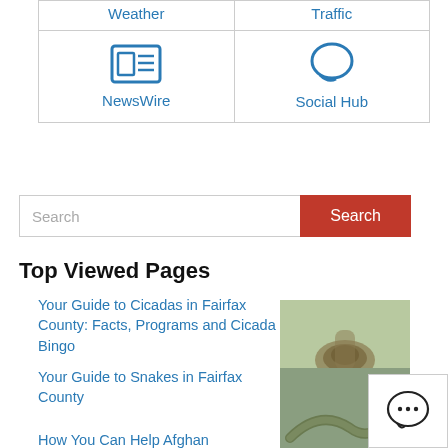| Weather | Traffic | NewsWire | Social Hub |
| --- | --- | --- | --- |
Search
Top Viewed Pages
Your Guide to Cicadas in Fairfax County: Facts, Programs and Cicada Bingo
[Figure (photo): Photo of a cicada on a green leaf]
Your Guide to Snakes in Fairfax County
[Figure (photo): Photo of a snake on grass]
How You Can Help Afghan